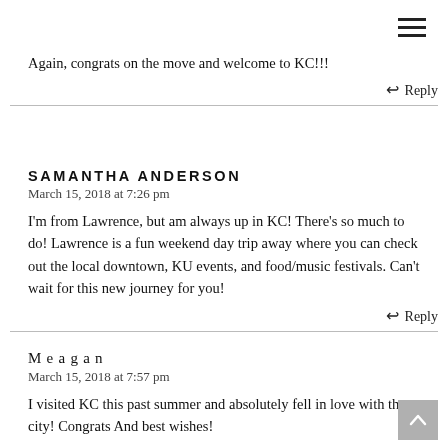Again, congrats on the move and welcome to KC!!!
↩ Reply
SAMANTHA ANDERSON
March 15, 2018 at 7:26 pm
I'm from Lawrence, but am always up in KC! There's so much to do! Lawrence is a fun weekend day trip away where you can check out the local downtown, KU events, and food/music festivals. Can't wait for this new journey for you!
↩ Reply
Meagan
March 15, 2018 at 7:57 pm
I visited KC this past summer and absolutely fell in love with the city! Congrats And best wishes!